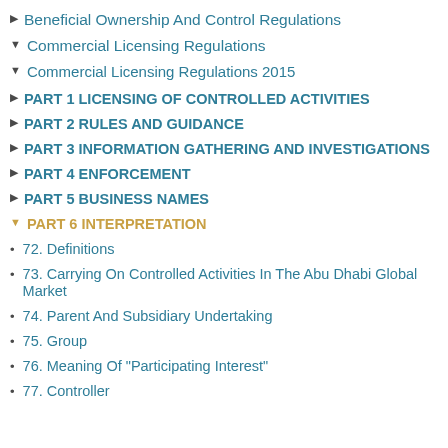Beneficial Ownership And Control Regulations
Commercial Licensing Regulations
Commercial Licensing Regulations 2015
PART 1 LICENSING OF CONTROLLED ACTIVITIES
PART 2 RULES AND GUIDANCE
PART 3 INFORMATION GATHERING AND INVESTIGATIONS
PART 4 ENFORCEMENT
PART 5 BUSINESS NAMES
PART 6 INTERPRETATION
72. Definitions
73. Carrying On Controlled Activities In The Abu Dhabi Global Market
74. Parent And Subsidiary Undertaking
75. Group
76. Meaning Of "Participating Interest"
77. Controller